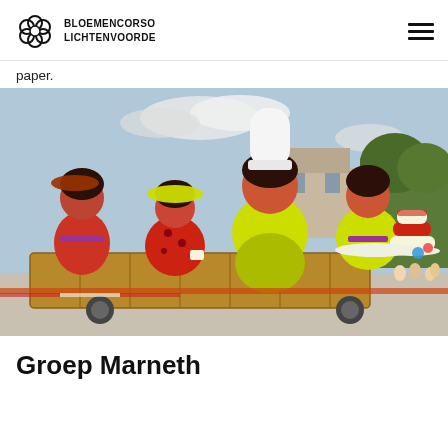BLOEMENCORSO LICHTENVOORDE
paper.
[Figure (photo): A colorful flower parade float featuring large flower-covered doll figures in red and yellow costumes, with dark hair, sitting on a wicker base. One figure holds a tiered cake. Spectators and a building are visible in the background.]
Groep Marneth